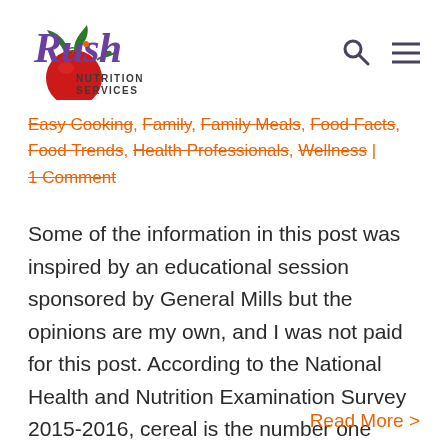[Figure (logo): Rush Nutrition Services logo with tomato graphic and purple script text]
Rush Nutrition Services header with search and menu icons
Easy Cooking, Family, Family Meals, Food Facts, Food Trends, Health Professionals, Wellness | 1 Comment
Some of the information in this post was inspired by an educational session sponsored by General Mills but the opinions are my own, and I was not paid for this post. According to the National Health and Nutrition Examination Survey 2015-2016, cereal is the number one breakfast food [...]
Read More >